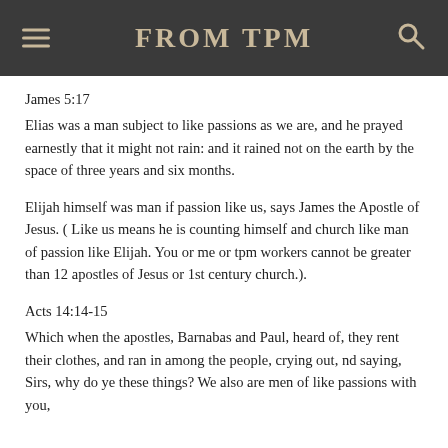FROM TPM
James 5:17
Elias was a man subject to like passions as we are, and he prayed earnestly that it might not rain: and it rained not on the earth by the space of three years and six months.
Elijah himself was man if passion like us, says James the Apostle of Jesus. ( Like us means he is counting himself and church like man of passion like Elijah. You or me or tpm workers cannot be greater than 12 apostles of Jesus or 1st century church.).
Acts 14:14-15
Which when the apostles, Barnabas and Paul, heard of, they rent their clothes, and ran in among the people, crying out, nd saying, Sirs, why do ye these things? We also are men of like passions with you,